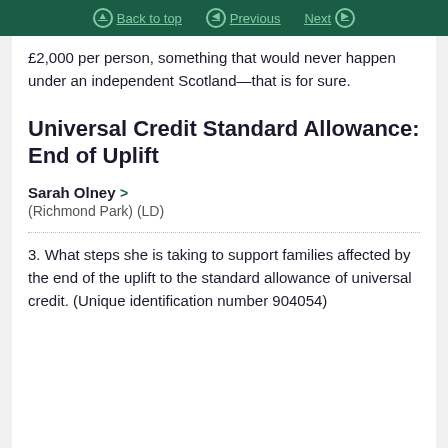Back to top   Previous   Next
£2,000 per person, something that would never happen under an independent Scotland—that is for sure.
Universal Credit Standard Allowance: End of Uplift
Sarah Olney > (Richmond Park) (LD)
3. What steps she is taking to support families affected by the end of the uplift to the standard allowance of universal credit. (Unique identification number 904054)